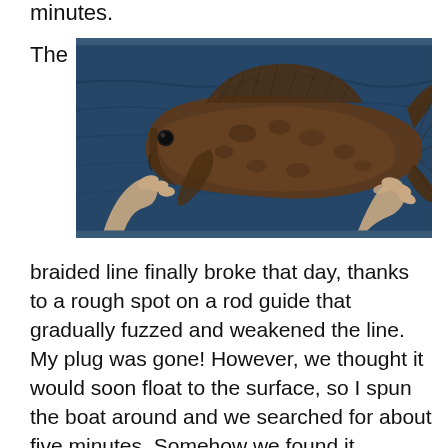minutes.
[Figure (photo): A person holding a large dark-brown fish (grouper) with both hands over dark blue ocean water. The fish is held horizontally, with head on the left and tail on the right. One hand grips near the mouth and another near the tail.]
braided line finally broke that day, thanks to a rough spot on a rod guide that gradually fuzzed and weakened the line. My plug was gone! However, we thought it would soon float to the surface, so I spun the boat around and we searched for about five minutes. Somehow we found it, bobbing around in 2-foot choppy seas. I now call that plug "Old Lucky" for many good reasons. These tooth-scarred plugs add